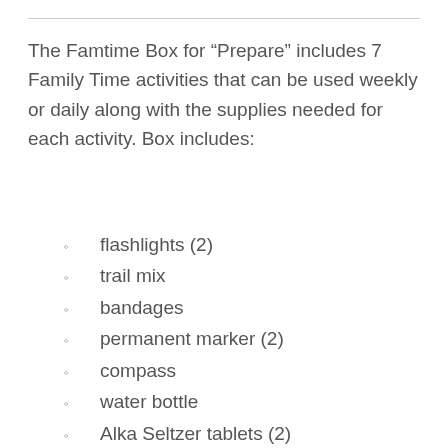The Famtime Box for “Prepare” includes 7 Family Time activities that can be used weekly or daily along with the supplies needed for each activity. Box includes:
flashlights (2)
trail mix
bandages
permanent marker (2)
compass
water bottle
Alka Seltzer tablets (2)
grape drink
crackers